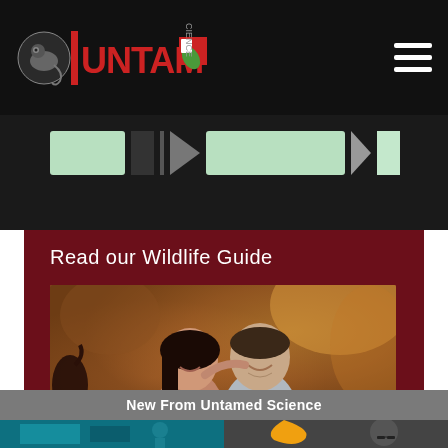[Figure (logo): Untamed Science logo with chameleon icon and red/grey text on black navbar, with hamburger menu on right]
[Figure (screenshot): Video player or content strip with green bars and dark elements on black background]
Read our Wildlife Guide
[Figure (photo): Two people (man and woman) smiling outdoors holding a red book, warm autumn background, inside dark red/maroon promotional box]
New From Untamed Science
[Figure (photo): Two cropped photos at bottom: left shows teal/blue science scene, right shows person with toucan and man with glasses]